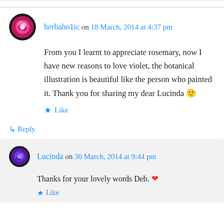herbaho1ic on 18 March, 2014 at 4:37 pm
From you I learnt to appreciate rosemary, now I have new reasons to love violet, the botanical illustration is beautiful like the person who painted it. Thank you for sharing my dear Lucinda 🙂
Like
↳ Reply
Lucinda on 30 March, 2014 at 9:44 pm
Thanks for your lovely words Deb. ❤
Like